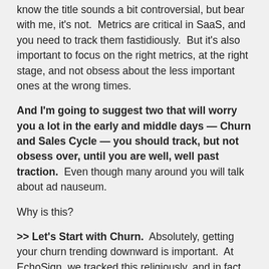know the title sounds a bit controversial, but bear with me, it's not.  Metrics are critical in SaaS, and you need to track them fastidiously.  But it's also important to focus on the right metrics, at the right stage, and not obsess about the less important ones at the wrong times.
And I'm going to suggest two that will worry you a lot in the early and middle days — Churn and Sales Cycle — you should track, but not obsess over, until you are well, well past traction.  Even though many around you will talk about ad nauseum.
Why is this?
>> Let's Start with Churn.  Absolutely, getting your churn trending downward is important.  At EchoSign, we tracked this religiously, and in fact, this is the metric we use to judge the results of our client success team, and on an existential level, our product.